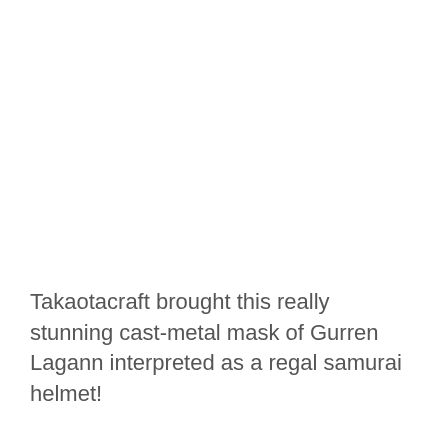Takaotacraft brought this really stunning cast-metal mask of Gurren Lagann interpreted as a regal samurai helmet!